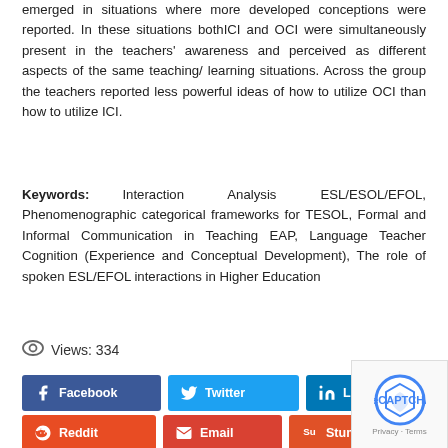emerged in situations where more developed conceptions were reported. In these situations bothICI and OCI were simultaneously present in the teachers' awareness and perceived as different aspects of the same teaching/learning situations. Across the group the teachers reported less powerful ideas of how to utilize OCI than how to utilize ICI.
Keywords: Interaction Analysis ESL/ESOL/EFOL, Phenomenographic categorical frameworks for TESOL, Formal and Informal Communication in Teaching EAP, Language Teacher Cognition (Experience and Conceptual Development), The role of spoken ESL/EFOL interactions in Higher Education
Views: 334
[Figure (other): Social share buttons: Facebook, Twitter, LinkedIn, Tumblr (top row); Reddit, Email, StumbleUpon, Digg (bottom row)]